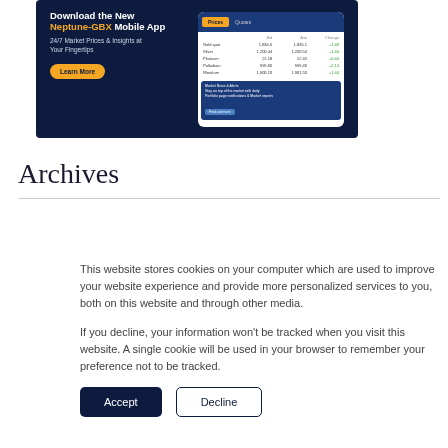[Figure (screenshot): Advertisement banner for Neptune-GBX Mobile App on dark navy background, showing app title, subtitle '24/7 Market Prices & Insights at Your Fingertips', a 'Learn More' button, and a phone mockup with a market prices table.]
Archives
This website stores cookies on your computer which are used to improve your website experience and provide more personalized services to you, both on this website and through other media.

If you decline, your information won't be tracked when you visit this website. A single cookie will be used in your browser to remember your preference not to be tracked.